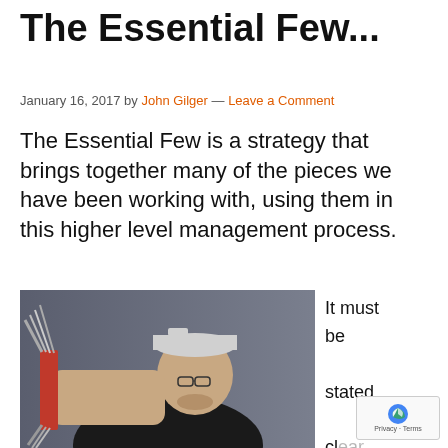The Essential Few...
January 16, 2017 by John Gilger — Leave a Comment
The Essential Few is a strategy that brings together many of the pieces we have been working with, using them in this higher level management process.
[Figure (photo): Man in backwards baseball cap and glasses holding a multi-tool Swiss army knife with many blades extended, pointing it toward the camera]
It must be stated cl... th... this is